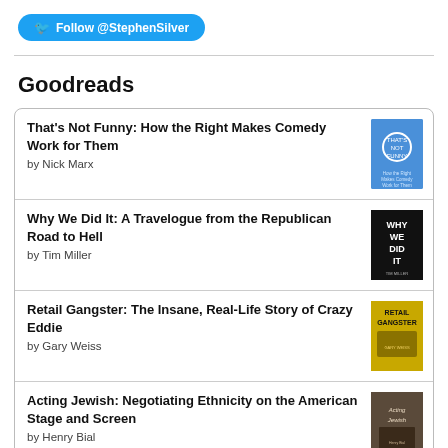[Figure (logo): Twitter Follow @StephenSilver button (blue rounded rectangle with bird icon)]
Goodreads
That's Not Funny: How the Right Makes Comedy Work for Them by Nick Marx
Why We Did It: A Travelogue from the Republican Road to Hell by Tim Miller
Retail Gangster: The Insane, Real-Life Story of Crazy Eddie by Gary Weiss
Acting Jewish: Negotiating Ethnicity on the American Stage and Screen by Henry Bial